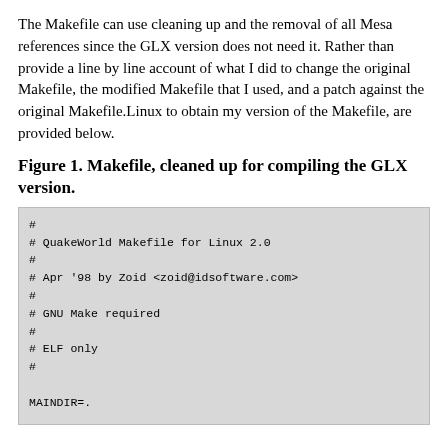The Makefile can use cleaning up and the removal of all Mesa references since the GLX version does not need it. Rather than provide a line by line account of what I did to change the original Makefile, the modified Makefile that I used, and a patch against the original Makefile.Linux to obtain my version of the Makefile, are provided below.
Figure 1. Makefile, cleaned up for compiling the GLX version.
[Figure (screenshot): Code block showing the beginning of a QuakeWorld Makefile for Linux 2.0, with comments and variable definitions: MAINDIR=., BUILD_RELEASE_DIR=bin, CLIENT_DIR=$(MAINDIR)/client, SERVER_DIR=$(MAINDIR)/server, CC=gcc, BASE_CFLAGS=-Wall -Dstricmp=strcasecmp -I$(CLIENT_DIR)]